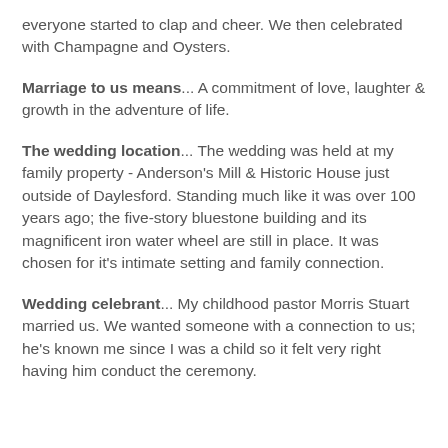everyone started to clap and cheer. We then celebrated with Champagne and Oysters.
Marriage to us means... A commitment of love, laughter & growth in the adventure of life.
The wedding location... The wedding was held at my family property - Anderson's Mill & Historic House just outside of Daylesford. Standing much like it was over 100 years ago; the five-story bluestone building and its magnificent iron water wheel are still in place. It was chosen for it's intimate setting and family connection.
Wedding celebrant... My childhood pastor Morris Stuart married us. We wanted someone with a connection to us; he's known me since I was a child so it felt very right having him conduct the ceremony.